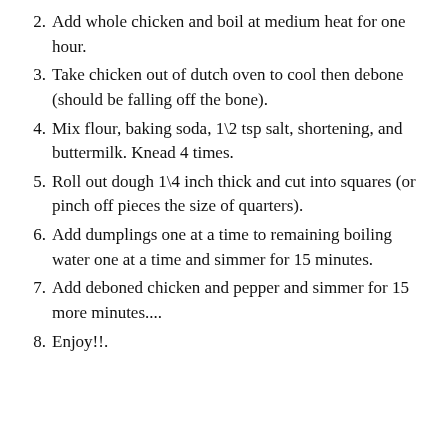2. Add whole chicken and boil at medium heat for one hour.
3. Take chicken out of dutch oven to cool then debone (should be falling off the bone).
4. Mix flour, baking soda, 1\2 tsp salt, shortening, and buttermilk. Knead 4 times.
5. Roll out dough 1\4 inch thick and cut into squares (or pinch off pieces the size of quarters).
6. Add dumplings one at a time to remaining boiling water one at a time and simmer for 15 minutes.
7. Add deboned chicken and pepper and simmer for 15 more minutes....
8. Enjoy!!.